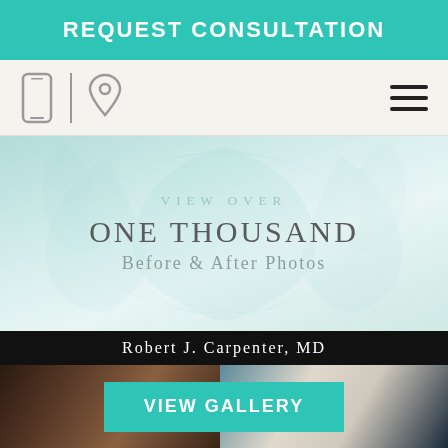REQUEST CONSULTATION
[Figure (screenshot): Navigation bar with mobile phone icon, location pin icon, and hamburger menu]
[Figure (illustration): Decorative ornamental hero section with text: VIEW OVER ONE THOUSAND Before & After Photos]
[Figure (photo): Before and after photos gallery for Robert J. Carpenter, MD with a teal VIEW GALLERY button overlay]